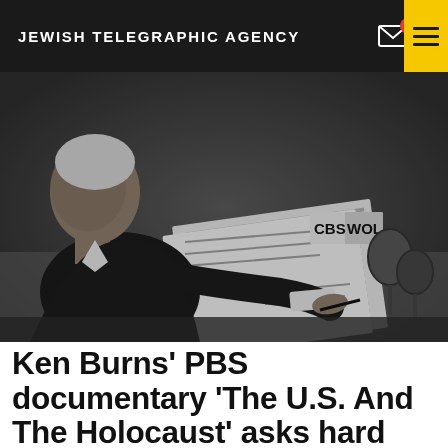JEWISH TELEGRAPHIC AGENCY
[Figure (photo): Black and white photograph of a man in a suit sitting at a desk, signing a document. CBS and WOL microphone signs are visible on the desk.]
Ken Burns' PBS documentary 'The U.S. And The Holocaust' asks hard questions about how Americans treated Jews and